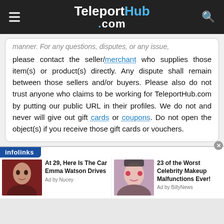TeleportHub.com
manner. For any questions, disputes, or any issue, please contact the seller/merchant who supplies those item(s) or product(s) directly. Any dispute shall remain between those sellers and/or buyers. Please also do not trust anyone who claims to be working for TeleportHub.com by putting our public URL in their profiles. We do not and never will give out gift cards or coupons. Do not open the object(s) if you receive those gift cards or vouchers.
[Figure (infographic): Infolinks ad bar with two sponsored article thumbnails: 'At 29, Here Is The Car Emma Watson Drives' (Ad by Nucey) and '23 of the Worst Celebrity Makeup Malfunctions Ever!' (Ad by BillyNews), each with a photo thumbnail.]